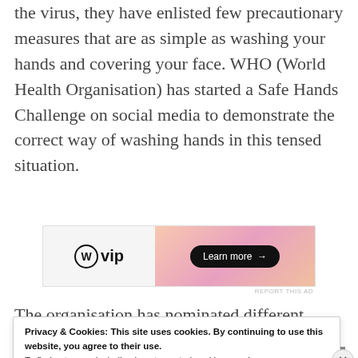the virus, they have enlisted few precautionary measures that are as simple as washing your hands and covering your face. WHO (World Health Organisation) has started a Safe Hands Challenge on social media to demonstrate the correct way of washing hands in this tensed situation.
[Figure (other): WordPress VIP advertisement banner with 'Learn more' button and gradient background]
The organisation has nominated different
Privacy & Cookies: This site uses cookies. By continuing to use this website, you agree to their use.
To find out more, including how to control cookies, see here:
Cookie Policy
Close and accept